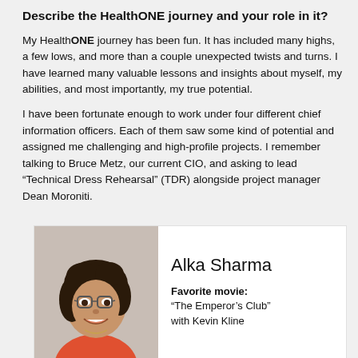Describe the HealthONE journey and your role in it?
My HealthONE journey has been fun. It has included many highs, a few lows, and more than a couple unexpected twists and turns. I have learned many valuable lessons and insights about myself, my abilities, and most importantly, my true potential.
I have been fortunate enough to work under four different chief information officers. Each of them saw some kind of potential and assigned me challenging and high-profile projects. I remember talking to Bruce Metz, our current CIO, and asking to lead “Technical Dress Rehearsal” (TDR) alongside project manager Dean Moroniti.
[Figure (photo): Profile photo of Alka Sharma, a woman with dark curly hair and glasses, wearing a red top, smiling.]
Alka Sharma
Favorite movie: “The Emperor’s Club” with Kevin Kline